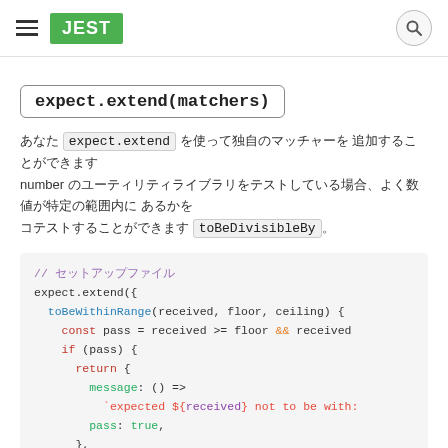JEST
expect.extend(matchers)
Use expect.extend to add your own matchers to Jest. For example, let's say that you're testing your number utility library and you're often asserting that numbers appear within a particular range of other numbers. You could abstract that into a toBeDivisibleBy matcher.
// setupFilesAfterFramework
expect.extend({
  toBeWithinRange(received, floor, ceiling) {
    const pass = received >= floor && received
    if (pass) {
      return {
        message: () =>
          `expected ${received} not to be with:
        pass: true,
      },